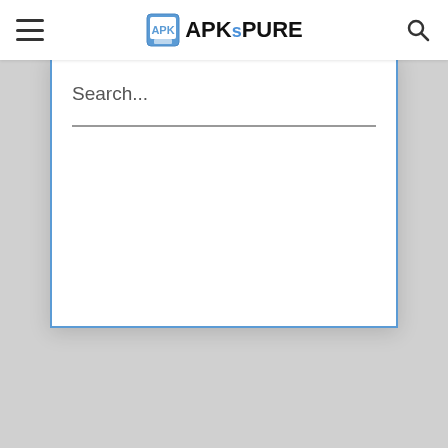APKsPURE - header navigation with hamburger menu, logo, and search icon
[Figure (screenshot): Search input box with 'Search...' placeholder text and a horizontal divider line, inside a blue-bordered white panel]
Home / Android Apps / Photography Apps / Camera FV-...